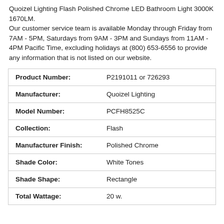Quoizel Lighting Flash Polished Chrome LED Bathroom Light 3000K 1670LM. Our customer service team is available Monday through Friday from 7AM - 5PM, Saturdays from 9AM - 3PM and Sundays from 11AM - 4PM Pacific Time, excluding holidays at (800) 653-6556 to provide any information that is not listed on our website.
| Product Number: | P2191011 or 726293 |
| Manufacturer: | Quoizel Lighting |
| Model Number: | PCFH8525C |
| Collection: | Flash |
| Manufacturer Finish: | Polished Chrome |
| Shade Color: | White Tones |
| Shade Shape: | Rectangle |
| Total Wattage: | 20 w. |